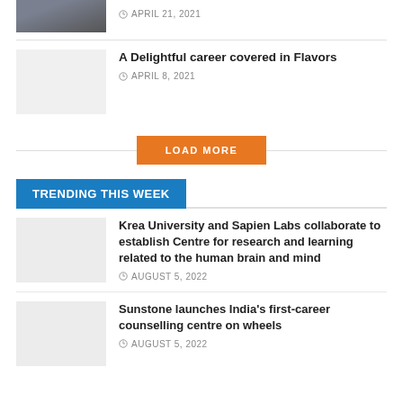[Figure (photo): Cropped thumbnail image at top]
APRIL 21, 2021
[Figure (photo): Placeholder thumbnail image]
A Delightful career covered in Flavors
APRIL 8, 2021
LOAD MORE
TRENDING THIS WEEK
[Figure (photo): Placeholder thumbnail image]
Krea University and Sapien Labs collaborate to establish Centre for research and learning related to the human brain and mind
AUGUST 5, 2022
[Figure (photo): Placeholder thumbnail image]
Sunstone launches India's first-career counselling centre on wheels
AUGUST 5, 2022